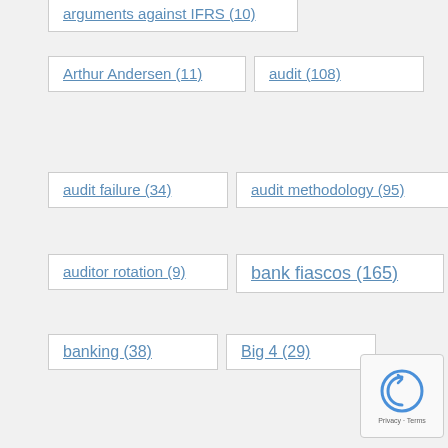arguments against IFRS (10)
Arthur Andersen (11)
audit (108)
audit failure (34)
audit methodology (95)
auditor rotation (9)
bank fiascos (165)
banking (38)
Big 4 (29)
CA Bd of Accountancy (17)
compilation (55)
coping with change (15)
difference between audit review compilation (13)
economic indicators (38)
Ethics (1)
fraud (76)
IFRS (27)
inflation (9)